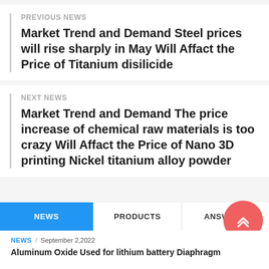PREVIOUS NEWS
Market Trend and Demand Steel prices will rise sharply in May Will Affact the Price of Titanium disilicide
NEXT NEWS
Market Trend and Demand The price increase of chemical raw materials is too crazy Will Affact the Price of Nano 3D printing Nickel titanium alloy powder
NEWS | PRODUCTS | ANSWERS
NEWS / September 2,2022
Aluminum Oxide Used for lithium battery Diaphragm